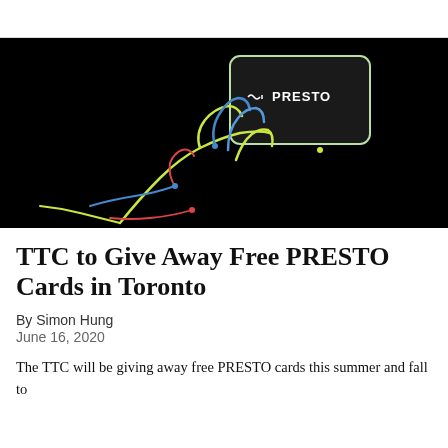[Figure (illustration): Dark/black background illustration of a glowing neon-outlined hand holding a PRESTO transit card with colorful lines (yellow, blue, red, green) in a stylized graphic design.]
TTC to Give Away Free PRESTO Cards in Toronto
By Simon Hung
June 16, 2020
The TTC will be giving away free PRESTO cards this summer and fall to